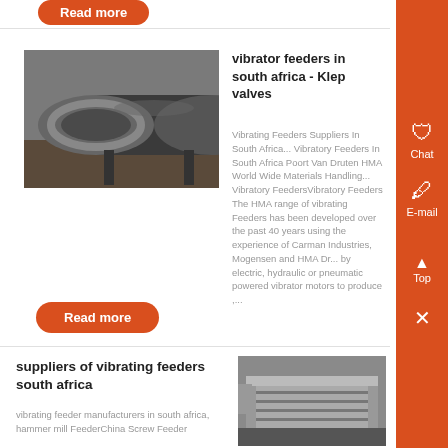[Figure (photo): Industrial ball mill or rotary equipment, large cylindrical machine with gears visible, factory setting]
vibrator feeders in south africa - Klep valves
Vibrating Feeders Suppliers In South Africa... Vibratory Feeders In South Africa Poort Van Druten HMA World Wide Materials Handling... Vibratory FeedersVibratory Feeders The HMA range of vibrating Feeders has been developed over the past 40 years using the experience of Carman Industries, Mogensen and HMA Dr... by electric, hydraulic or pneumatic powered vibrator motors to produce ,...
Read more
suppliers of vibrating feeders south africa
vibrating feeder manufacturers in south africa, hammer mill FeederChina Screw Feeder
[Figure (photo): Industrial vibrating feeder or screw conveyor equipment, metallic machinery in factory]